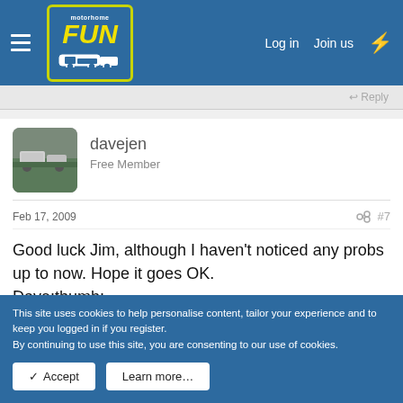Motorhome Fun — Log in | Join us
↩ Reply
davejen
Free Member
Feb 17, 2009   #7
Good luck Jim, although I haven't noticed any probs up to now. Hope it goes OK.
Dave:thumb:
↩ Reply
This site uses cookies to help personalise content, tailor your experience and to keep you logged in if you register.
By continuing to use this site, you are consenting to our use of cookies.